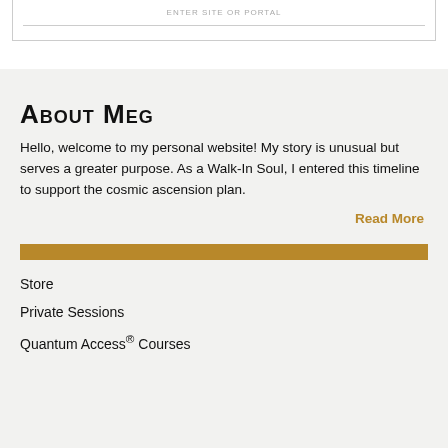ENTER SITE OR PORTAL
About Meg
Hello, welcome to my personal website! My story is unusual but serves a greater purpose. As a Walk-In Soul, I entered this timeline to support the cosmic ascension plan.
Read More
Store
Private Sessions
Quantum Access® Courses